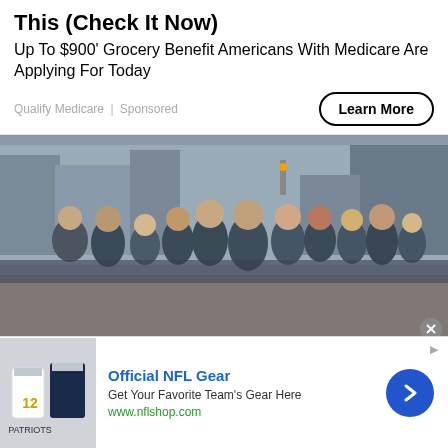This (Check It Now)
Up To $900' Grocery Benefit Americans With Medicare Are Applying For Today
Qualify Medicare | Sponsored
[Figure (photo): Group of about 12 people wearing matching dark blue branded t-shirts standing together outdoors on a city street, likely New York City, with buildings and traffic lights in background]
Official NFL Gear
Get Your Favorite Team's Gear Here
www.nflshop.com